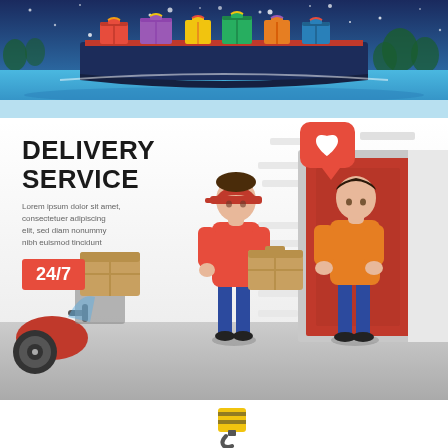[Figure (illustration): Top illustration showing a cargo ship loaded with colorful gift boxes on blue water with snowy sky background]
[Figure (illustration): Delivery service illustration showing a delivery person in red uniform handing a package to a customer at their door, with a red scooter and boxes on cart in the background. Text reads DELIVERY SERVICE with lorem ipsum placeholder text and a 24/7 badge. A heart speech bubble floats above.]
[Figure (illustration): Bottom partial illustration showing a yellow and black crane hook on white background]